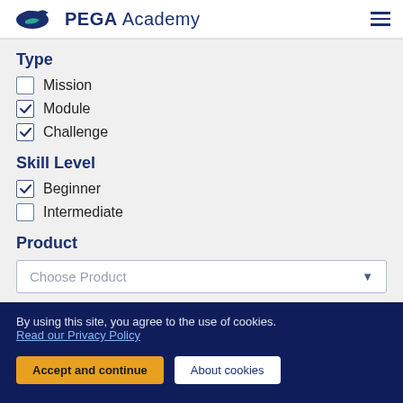PEGA Academy
Type
Mission (unchecked)
Module (checked)
Challenge (checked)
Skill Level
Beginner (checked)
Intermediate (unchecked)
Product
Choose Product
By using this site, you agree to the use of cookies. Read our Privacy Policy
Accept and continue | About cookies